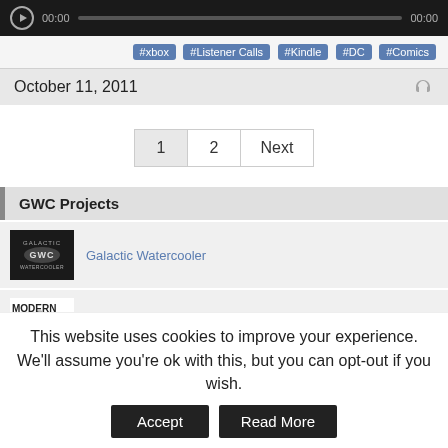[Figure (other): Audio media player bar with play button, time stamps 00:00, progress bar]
#xbox #Listener Calls #Kindle #DC #Comics
October 11, 2011
1  2  Next
GWC Projects
[Figure (logo): Galactic Watercooler logo - dark background with elliptical disc shape and GWC text]
Galactic Watercooler
[Figure (logo): Modern Geek logo - white background with stylized person and green leaf]
Modern Geek
This website uses cookies to improve your experience. We'll assume you're ok with this, but you can opt-out if you wish.
Accept
Read More